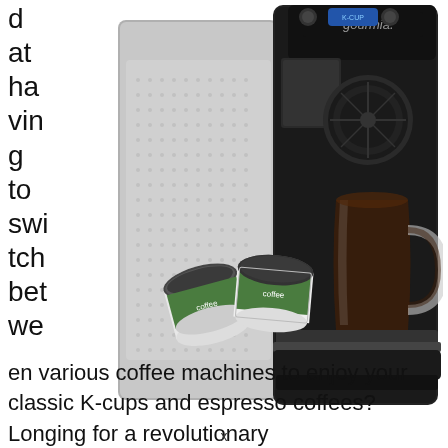d at ha vin g to swi tch bet we
[Figure (photo): A Gourmia coffee machine with K-cup pods in front of it, shown with a glass mug of dark coffee on the drip tray. Two K-cups are visible in the foreground.]
en various coffee machines to enjoy your classic K-cups and espresso coffees? Longing for a revolutionary
x